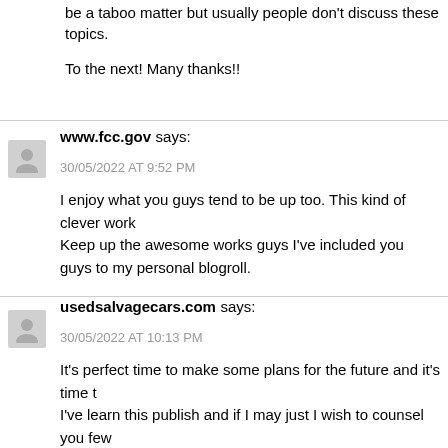be a taboo matter but usually people don't discuss these topics.
To the next! Many thanks!!
www.fcc.gov says:
30/05/2022 AT 9:52 PM
I enjoy what you guys tend to be up too. This kind of clever work Keep up the awesome works guys I've included you guys to my personal blogroll.
usedsalvagecars.com says:
30/05/2022 AT 10:13 PM
It's perfect time to make some plans for the future and it's time t I've learn this publish and if I may just I wish to counsel you few